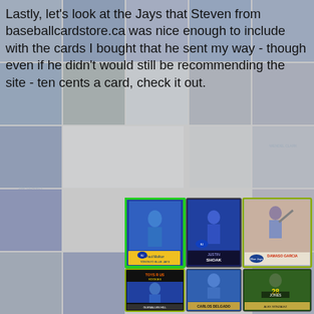[Figure (photo): Background collage of faded baseball and hockey trading cards arranged in a grid pattern, including various player cards visible behind the main content]
Lastly, let's look at the Jays that Steven from baseballcardstore.ca was nice enough to include with the cards I bought that he sent my way - though even if he didn't would still be recommending the site - ten cents a card, check it out.
[Figure (photo): Collage of Toronto Blue Jays baseball cards including Paul Molitor card with green border, Justin Shoak card, Damaso Garcia Donruss card, Toys R Us Rookies card (Glenallen Hill), Carlos Delgado card, Alex Rodriguez card, and two additional player cards in bottom row]